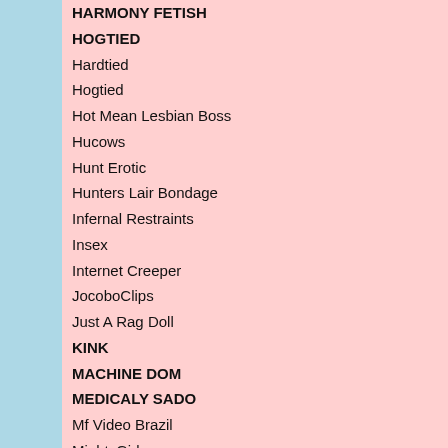HARMONY FETISH
HOGTIED
Hardtied
Hogtied
Hot Mean Lesbian Boss
Hucows
Hunt Erotic
Hunters Lair Bondage
Infernal Restraints
Insex
Internet Creeper
JocoboClips
Just A Rag Doll
KINK
MACHINE DOM
MEDICALY SADO
Mf Video Brazil
MightyGirlz
Movie Porn
PASCALS SUBSLUTS
PORNSTAR PLATINUM
Perfect Slave
Perverse Family
Prime Real Estate
Evaluating slave Lucy Day 2 - slave Lucy - SensualPain - 2020 - FullH